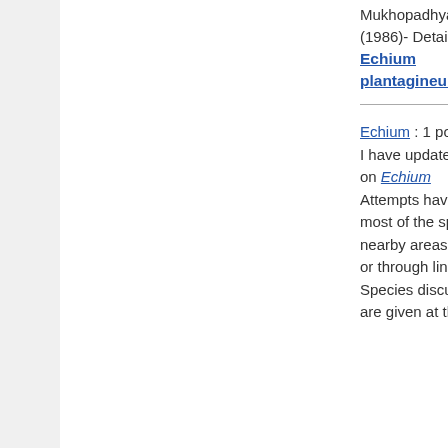Mukhopadhyay (1986)- Details- Echium plantagineum
Echium : 1 post by 1 author. I have updated eFI (efloraofindia) page on Echium Attempts have been made to incorporate most of the species available in India & nearby areas with details & keys directly or through links as far as possible. Species discussed so far in efloraofindia are given at the